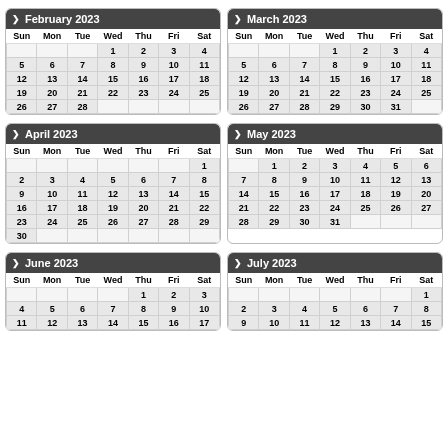| Sun | Mon | Tue | Wed | Thu | Fri | Sat |
| --- | --- | --- | --- | --- | --- | --- |
|  |  |  | 1 | 2 | 3 | 4 |
| 5 | 6 | 7 | 8 | 9 | 10 | 11 |
| 12 | 13 | 14 | 15 | 16 | 17 | 18 |
| 19 | 20 | 21 | 22 | 23 | 24 | 25 |
| 26 | 27 | 28 |  |  |  |  |
| Sun | Mon | Tue | Wed | Thu | Fri | Sat |
| --- | --- | --- | --- | --- | --- | --- |
|  |  |  | 1 | 2 | 3 | 4 |
| 5 | 6 | 7 | 8 | 9 | 10 | 11 |
| 12 | 13 | 14 | 15 | 16 | 17 | 18 |
| 19 | 20 | 21 | 22 | 23 | 24 | 25 |
| 26 | 27 | 28 | 29 | 30 | 31 |  |
| Sun | Mon | Tue | Wed | Thu | Fri | Sat |
| --- | --- | --- | --- | --- | --- | --- |
|  |  |  |  |  |  | 1 |
| 2 | 3 | 4 | 5 | 6 | 7 | 8 |
| 9 | 10 | 11 | 12 | 13 | 14 | 15 |
| 16 | 17 | 18 | 19 | 20 | 21 | 22 |
| 23 | 24 | 25 | 26 | 27 | 28 | 29 |
| 30 |  |  |  |  |  |  |
| Sun | Mon | Tue | Wed | Thu | Fri | Sat |
| --- | --- | --- | --- | --- | --- | --- |
|  | 1 | 2 | 3 | 4 | 5 | 6 |
| 7 | 8 | 9 | 10 | 11 | 12 | 13 |
| 14 | 15 | 16 | 17 | 18 | 19 | 20 |
| 21 | 22 | 23 | 24 | 25 | 26 | 27 |
| 28 | 29 | 30 | 31 |  |  |  |
| Sun | Mon | Tue | Wed | Thu | Fri | Sat |
| --- | --- | --- | --- | --- | --- | --- |
|  |  |  |  | 1 | 2 | 3 |
| 4 | 5 | 6 | 7 | 8 | 9 | 10 |
| 11 | 12 | 13 | 14 | 15 | 16 | 17 |
| Sun | Mon | Tue | Wed | Thu | Fri | Sat |
| --- | --- | --- | --- | --- | --- | --- |
|  |  |  |  |  |  | 1 |
| 2 | 3 | 4 | 5 | 6 | 7 | 8 |
| 9 | 10 | 11 | 12 | 13 | 14 | 15 |